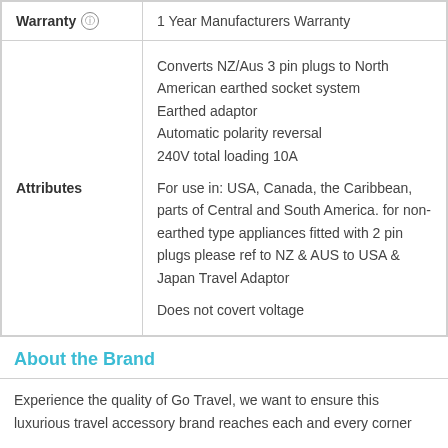|  |  |
| --- | --- |
| Warranty | 1 Year Manufacturers Warranty |
| Attributes | Converts NZ/Aus 3 pin plugs to North American earthed socket system
Earthed adaptor
Automatic polarity reversal
240V total loading 10A

For use in: USA, Canada, the Caribbean, parts of Central and South America. for non-earthed type appliances fitted with 2 pin plugs please ref to NZ & AUS to USA & Japan Travel Adaptor

Does not covert voltage |
About the Brand
Experience the quality of Go Travel, we want to ensure this luxurious travel accessory brand reaches each and every corner